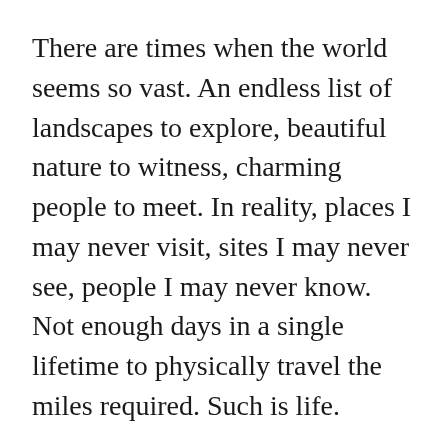There are times when the world seems so vast. An endless list of landscapes to explore, beautiful nature to witness, charming people to meet. In reality, places I may never visit, sites I may never see, people I may never know. Not enough days in a single lifetime to physically travel the miles required. Such is life.
Other times this world feels so small. Communication is instant and constant. Phone calls, text messages, emails-right at our fingertips. Breaking news reports from places close and far away. With this shrinking outlook of the world, my focus